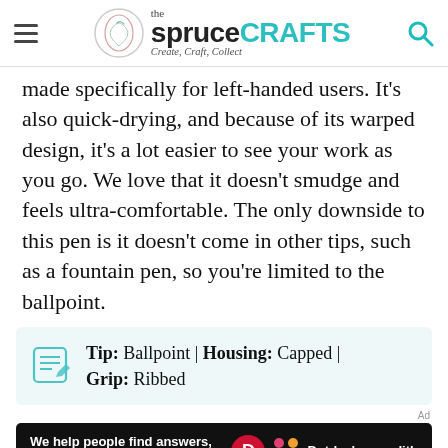the spruceCRAFTS — Create, Craft, Collect
made specifically for left-handed users. It's also quick-drying, and because of its warped design, it's a lot easier to see your work as you go. We love that it doesn't smudge and feels ultra-comfortable. The only downside to this pen is it doesn't come in other tips, such as a fountain pen, so you're limited to the ballpoint.
Tip: Ballpoint | Housing: Capped | Grip: Ribbed
[Figure (other): Dotdash Meredith advertisement banner: 'We help people find answers, solve problems and get inspired.']